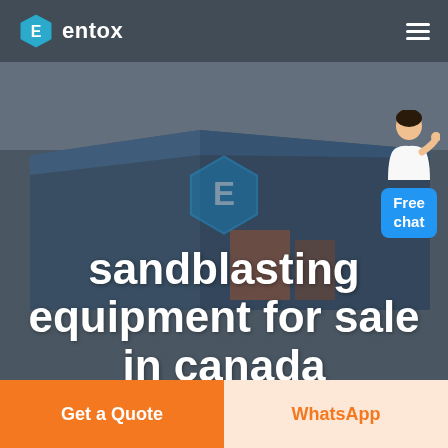entox
[Figure (photo): Aerial view of industrial warehouse/factory buildings with blue metal roofs, shot from a drone perspective under an overcast sky. The Entox hexagonal logo watermark is visible in the center of the image.]
[Figure (illustration): Customer service representative person overlay (free chat widget) in the upper right area of the hero image, with a blue rounded rectangle containing the text 'Free chat']
sandblasting equipment for sale in canada
Get a Quote
WhatsApp